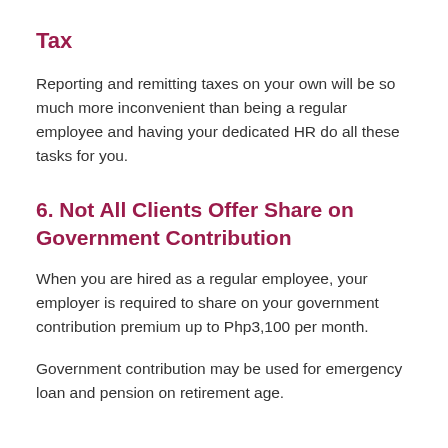Tax
Reporting and remitting taxes on your own will be so much more inconvenient than being a regular employee and having your dedicated HR do all these tasks for you.
6. Not All Clients Offer Share on Government Contribution
When you are hired as a regular employee, your employer is required to share on your government contribution premium up to Php3,100 per month.
Government contribution may be used for emergency loan and pension on retirement age.